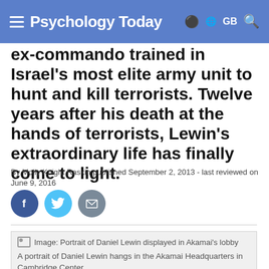Psychology Today · GB
ex-commando trained in Israel's most elite army unit to hunt and kill terrorists. Twelve years after his death at the hands of terrorists, Lewin's extraordinary life has finally come to light.
By Molly Knight Raskin published September 2, 2013 - last reviewed on June 9, 2016
[Figure (infographic): Social sharing buttons: Facebook (dark blue circle with f), Twitter (light blue circle with bird icon), Email (grey circle with envelope icon)]
[Figure (photo): Image: Portrait of Daniel Lewin displayed in Akamai's lobby. A portrait of Daniel Lewin hangs in the Akamai Headquarters in Cambridge Center.]